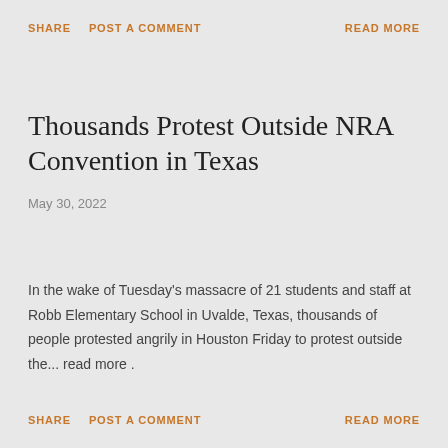SHARE   POST A COMMENT   READ MORE
Thousands Protest Outside NRA Convention in Texas
May 30, 2022
In the wake of Tuesday's massacre of 21 students and staff at Robb Elementary School in Uvalde, Texas, thousands of people protested angrily in Houston Friday to protest outside the... read more .
SHARE   POST A COMMENT   READ MORE